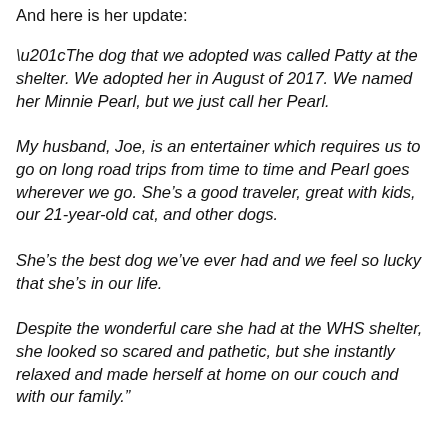And here is her update:
“The dog that we adopted was called Patty at the shelter. We adopted her in August of 2017. We named her Minnie Pearl, but we just call her Pearl.

My husband, Joe, is an entertainer which requires us to go on long road trips from time to time and Pearl goes wherever we go. She’s a good traveler, great with kids, our 21-year-old cat, and other dogs.

She’s the best dog we’ve ever had and we feel so lucky that she’s in our life.

Despite the wonderful care she had at the WHS shelter, she looked so scared and pathetic, but she instantly relaxed and made herself at home on our couch and with our family.”